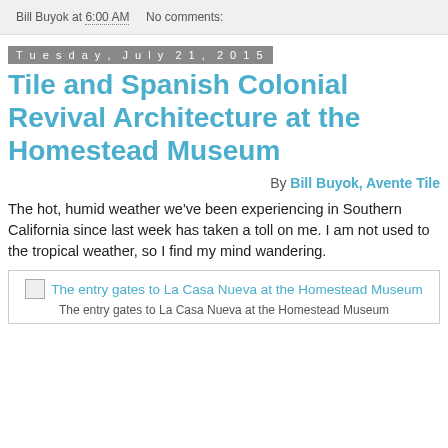Bill Buyok at 6:00 AM    No comments:
Tuesday, July 21, 2015
Tile and Spanish Colonial Revival Architecture at the Homestead Museum
By Bill Buyok, Avente Tile
The hot, humid weather we've been experiencing in Southern California since last week has taken a toll on me. I am not used to the tropical weather, so I find my mind wandering.
[Figure (photo): The entry gates to La Casa Nueva at the Homestead Museum - broken image placeholder with link and caption below]
The entry gates to La Casa Nueva at the Homestead Museum